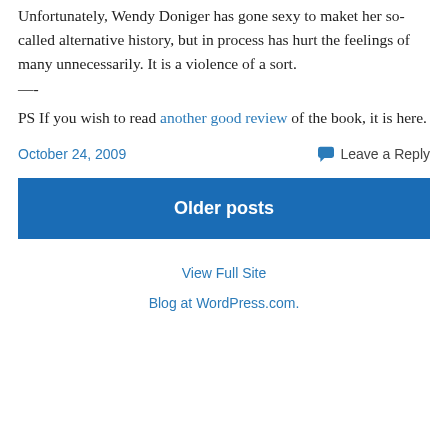Unfortunately, Wendy Doniger has gone sexy to maket her so-called alternative history, but in process has hurt the feelings of many unnecessarily. It is a violence of a sort.
—-
PS If you wish to read another good review of the book, it is here.
October 24, 2009
Leave a Reply
Older posts
View Full Site
Blog at WordPress.com.